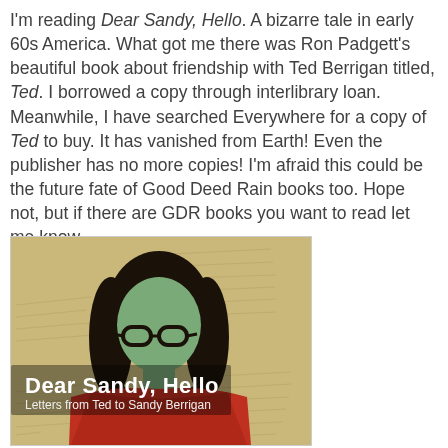I'm reading Dear Sandy, Hello. A bizarre tale in early 60s America. What got me there was Ron Padgett's beautiful book about friendship with Ted Berrigan titled, Ted. I borrowed a copy through interlibrary loan. Meanwhile, I have searched Everywhere for a copy of Ted to buy. It has vanished from Earth! Even the publisher has no more copies! I'm afraid this could be the future fate of Good Deed Rain books too. Hope not, but if there are GDR books you want to read let me know.
[Figure (illustration): Book cover of 'Dear Sandy, Hello — Letters from Ted to Sandy Berrigan'. Shows a painted portrait of a person with dark hair, glasses, and a red top, against a yellowed handwritten-letter background. Title text 'Dear Sandy, Hello' in bold white, subtitle 'Letters from Ted to Sandy Berrigan' below.]